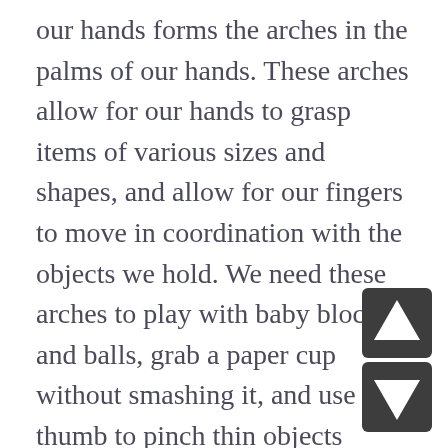our hands forms the arches in the palms of our hands. These arches allow for our hands to grasp items of various sizes and shapes, and allow for our fingers to move in coordination with the objects we hold. We need these arches to play with baby blocks and balls, grab a paper cup without smashing it, and use our thumb to pinch thin objects within our fingers.
Show me your muscles: Bodyweight through our arms develops the muscles in our shoulders and arms. The shifting of a crawling movement helps strengthen these muscles and allow for stability at our shoulder which we need for later fine motor